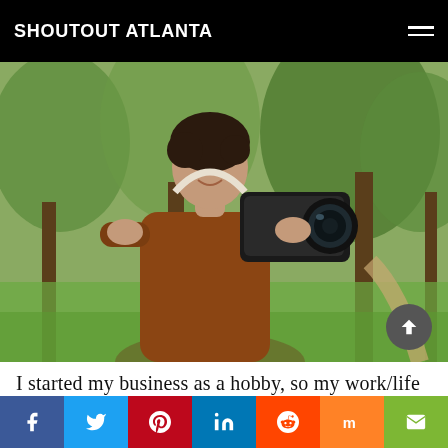SHOUTOUT ATLANTA
[Figure (photo): A woman with short dark hair, smiling and holding a DSLR camera up to take a photograph, wearing a brown sweater, outdoors in a park with green trees in the background.]
I started my business as a hobby, so my work/life balance at the beginning was great, as taking photos was part of my "life." But then I soon realized I could make money with my